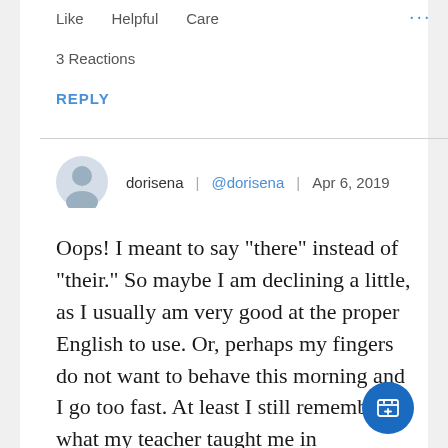Like   Helpful   Care   ···
3 Reactions
REPLY
dorisena | @dorisena | Apr 6, 2019
Oops! I meant to say “there” instead of “their.” So maybe I am declining a little, as I usually am very good at the proper English to use. Or, perhaps my fingers do not want to behave this morning and I go too fast. At least I still remember what my teacher taught me in elementary school. Dorisena